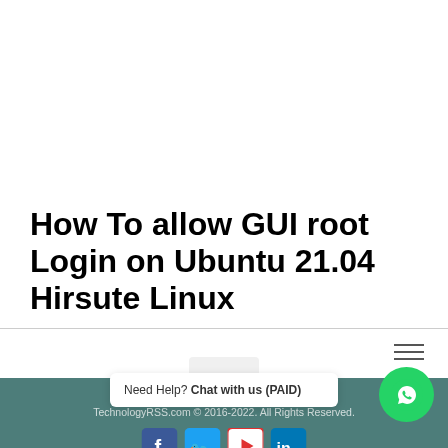How To allow GUI root Login on Ubuntu 21.04 Hirsute Linux
TechnologyRSS.com © 2016-2022. All Rights Reserved.
Need Help? Chat with us (PAID)